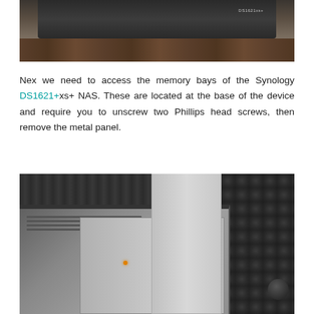[Figure (photo): Bottom portion of a Synology DS1621+xs+ NAS device sitting on a dark wood floor, showing the front panel with model name label visible]
Nex we need to access the memory bays of the Synology DS1621+xs+ NAS. These are located at the base of the device and require you to unscrew two Phillips head screws, then remove the metal panel.
[Figure (photo): NAS device lying on its side showing the base/bottom panel, set against acoustic foam background with cables visible in the upper right corner]